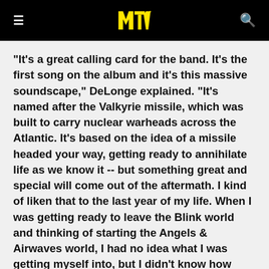MTV logo header with menu and search icons
"It's a great calling card for the band. It's the first song on the album and it's this massive soundscape," DeLonge explained. "It's named after the Valkyrie missile, which was built to carry nuclear warheads across the Atlantic. It's based on the idea of a missile headed your way, getting ready to annihilate life as we know it -- but something great and special will come out of the aftermath. I kind of liken that to the last year of my life. When I was getting ready to leave the Blink world and thinking of starting the Angels & Airwaves world, I had no idea what I was getting myself into, but I didn't know how amazing it would be."
While DeLonge is anxious to get the song out there, he's even more excited about just how fans will react to it. And in typical fashion, he's not exactly shy about